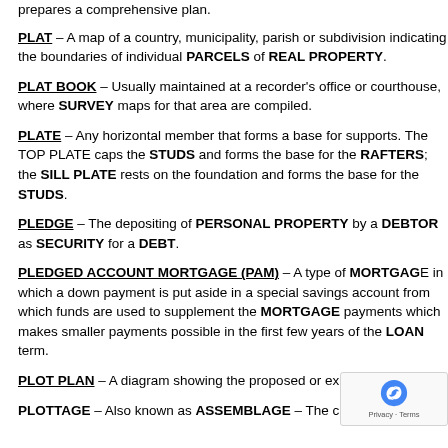prepares a comprehensive plan.
PLAT – A map of a country, municipality, parish or subdivision indicating the boundaries of individual PARCELS of REAL PROPERTY.
PLAT BOOK – Usually maintained at a recorder's office or courthouse, where SURVEY maps for that area are compiled.
PLATE – Any horizontal member that forms a base for supports. The TOP PLATE caps the STUDS and forms the base for the RAFTERS; the SILL PLATE rests on the foundation and forms the base for the STUDS.
PLEDGE – The depositing of PERSONAL PROPERTY by a DEBTOR as SECURITY for a DEBT.
PLEDGED ACCOUNT MORTGAGE (PAM) – A type of MORTGAGE in which a down payment is put aside in a special savings account from which funds are used to supplement the MORTGAGE payments which makes smaller payments possible in the first few years of the LOAN term.
PLOT PLAN – A diagram showing the proposed or existing...
PLOTTAGE – Also known as ASSEMBLAGE – The creation of...